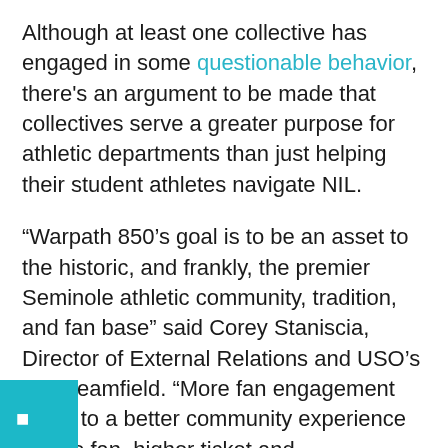Although at least one collective has engaged in some questionable behavior, there's an argument to be made that collectives serve a greater purpose for athletic departments than just helping their student athletes navigate NIL.
“Warpath 850’s goal is to be an asset to the historic, and frankly, the premier Seminole athletic community, tradition, and fan base” said Corey Staniscia, Director of External Relations and USO’s for Dreamfield. “More fan engagement leads to a better community experience for the fan, higher ticket and merchandise sales for the university, and an overall improved athletic experience for the athlete. Our only goal here is to use the athletes NIL for unique fan experiences, not just hand out sh, and give something in return to the fan.”